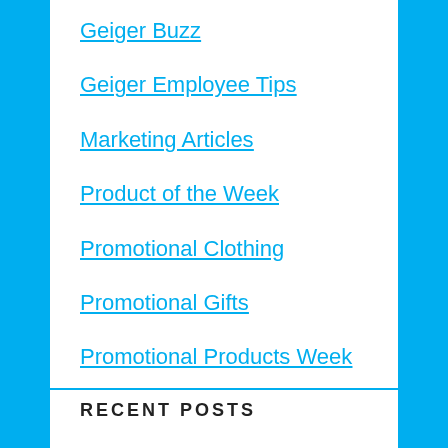Geiger Buzz
Geiger Employee Tips
Marketing Articles
Product of the Week
Promotional Clothing
Promotional Gifts
Promotional Products Week
Technology
RECENT POSTS